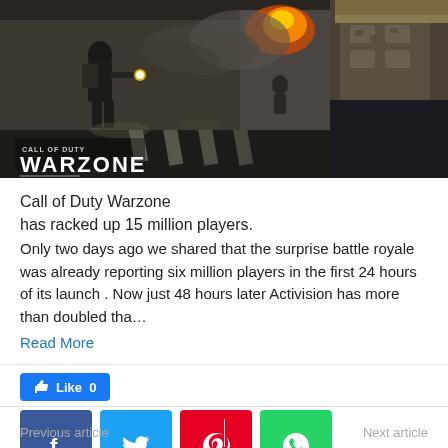[Figure (screenshot): Call of Duty Warzone game screenshot showing two soldiers in a battle scene with smoke and debris. The Warzone logo with 'CALL OF DUTY' text appears in the bottom left corner.]
Call of Duty Warzone
has racked up 15 million players.
Only two days ago we shared that the surprise battle royale was already reporting six million players in the first 24 hours of its launch . Now just 48 hours later Activision has more than doubled tha…
Read More
[Figure (infographic): Social sharing buttons: Like button (Facebook blue), and four share icons: Facebook (dark blue), Twitter (light blue), Pinterest (red), WhatsApp (green)]
Previous article    Next article